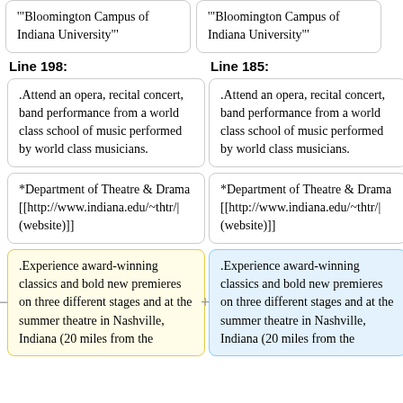'"Bloomington Campus of Indiana University"'
'"Bloomington Campus of Indiana University"'
Line 198:
Line 185:
.Attend an opera, recital concert, band performance from a world class school of music performed by world class musicians.
.Attend an opera, recital concert, band performance from a world class school of music performed by world class musicians.
*Department of Theatre & Drama [[http://www.indiana.edu/~thtr/| (website)]]
*Department of Theatre & Drama [[http://www.indiana.edu/~thtr/| (website)]]
.Experience award-winning classics and bold new premieres on three different stages and at the summer theatre in Nashville, Indiana (20 miles from the
.Experience award-winning classics and bold new premieres on three different stages and at the summer theatre in Nashville, Indiana (20 miles from the